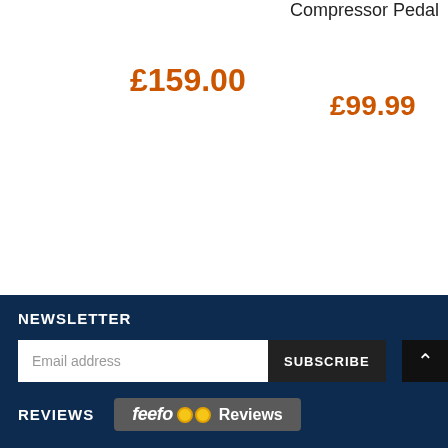Compressor Pedal
£159.00
£99.99
NEWSLETTER
Email address
SUBSCRIBE
REVIEWS
feefo Reviews